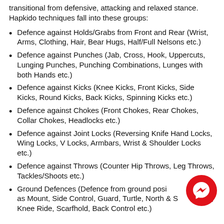transitional from defensive, attacking and relaxed stance. Hapkido techniques fall into these groups:
Defence against Holds/Grabs from Front and Rear (Wrist, Arms, Clothing, Hair, Bear Hugs, Half/Full Nelsons etc.)
Defence against Punches (Jab, Cross, Hook, Uppercuts, Lunging Punches, Punching Combinations, Lunges with both Hands etc.)
Defence against Kicks (Knee Kicks, Front Kicks, Side Kicks, Round Kicks, Back Kicks, Spinning Kicks etc.)
Defence against Chokes (Front Chokes, Rear Chokes, Collar Chokes, Headlocks etc.)
Defence against Joint Locks (Reversing Knife Hand Locks, Wing Locks, V Locks, Armbars, Wrist & Shoulder Locks etc.)
Defence against Throws (Counter Hip Throws, Leg Throws, Tackles/Shoots etc.)
Ground Defences (Defence from ground positions such as Mount, Side Control, Guard, Turtle, North & South, Knee Ride, Scarfhold, Back Control etc.)